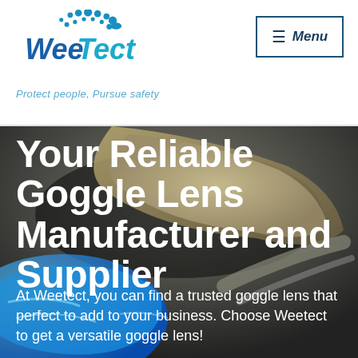[Figure (logo): WeeTect logo with dot pattern above and brand name in blue italic bold text, tagline 'Protect people, Pursue safety' in light blue italic]
[Figure (other): Menu button with hamburger icon (≡) and bold italic 'Menu' text inside a rectangular border]
[Figure (photo): Background hero image showing goggle lenses — beige/tan goggle lens in upper portion and blue transparent goggle lens in lower portion, with dark blurred background]
Your Reliable Goggle Lens Manufacturer and Supplier
At Weetect, you can find a trusted goggle lens that perfect to add to your business. Choose Weetect to get a versatile goggle lens!